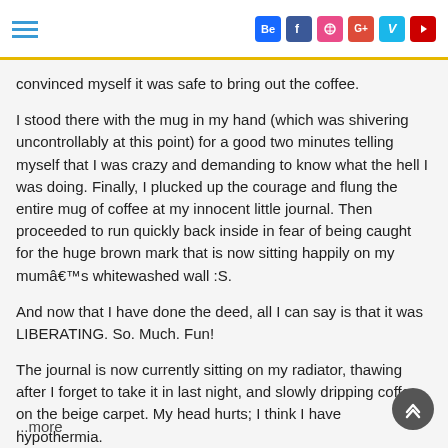Navigation bar with hamburger menu and social icons: Behance, Facebook, Dribbble, Google+, Vine, YouTube
convinced myself it was safe to bring out the coffee.
I stood there with the mug in my hand (which was shivering uncontrollably at this point) for a good two minutes telling myself that I was crazy and demanding to know what the hell I was doing. Finally, I plucked up the courage and flung the entire mug of coffee at my innocent little journal. Then proceeded to run quickly back inside in fear of being caught for the huge brown mark that is now sitting happily on my mumâ€™s whitewashed wall :S.
And now that I have done the deed, all I can say is that it was LIBERATING. So. Much. Fun!
The journal is now currently sitting on my radiator, thawing after I forget to take it in last night, and slowly dripping coffee on the beige carpet. My head hurts; I think I have hypothermia.
...more